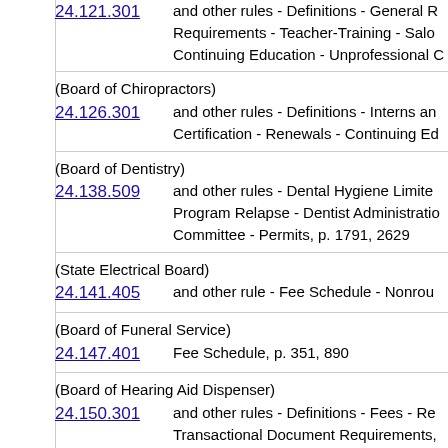24.121.301 and other rules - Definitions - General Requirements - Teacher-Training - Salon - Continuing Education - Unprofessional C
(Board of Chiropractors)
24.126.301 and other rules - Definitions - Interns and Certification - Renewals - Continuing Ed
(Board of Dentistry)
24.138.509 and other rules - Dental Hygiene Limited Program Relapse - Dentist Administration Committee - Permits, p. 1791, 2629
(State Electrical Board)
24.141.405 and other rule - Fee Schedule - Nonrou
(Board of Funeral Service)
24.147.401 Fee Schedule, p. 351, 890
(Board of Hearing Aid Dispenser)
24.150.301 and other rules - Definitions - Fees - Transactional Document Requirements,
(Board of Medical Examiners)
24.156.1401 and other rules - Acupuncturist Licens